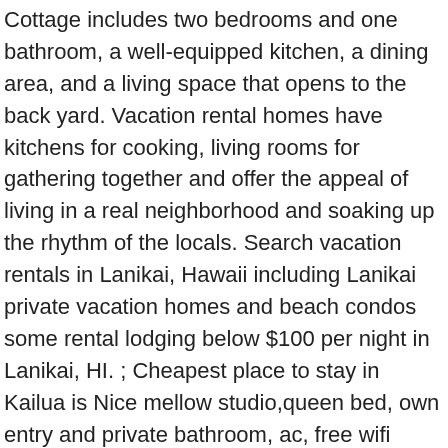Cottage includes two bedrooms and one bathroom, a well-equipped kitchen, a dining area, and a living space that opens to the back yard. Vacation rental homes have kitchens for cooking, living rooms for gathering together and offer the appeal of living in a real neighborhood and soaking up the rhythm of the locals. Search vacation rentals in Lanikai, Hawaii including Lanikai private vacation homes and beach condos some rental lodging below $100 per night in Lanikai, HI. ; Cheapest place to stay in Kailua is Nice mellow studio,queen bed, own entry and private bathroom, ac, free wifi Suite 103. This home within a room is a place where you will be able to relax and feel totally at ease. Our Address. Prices for a holiday home in Kailua start at $32; Top rated vacation home in Kailua is The Perfect Lanikai Retreat With Direct Access To Secluded White Sand Beach! Lanikai vacation rentals are moderately to luxuriously priced homes and villas, offering a wide range of amenities, such as a private pool, spa, Jacuzzi, private yard and garden, private beach access, and of course... sweeping views! Enjoy some luxury at a